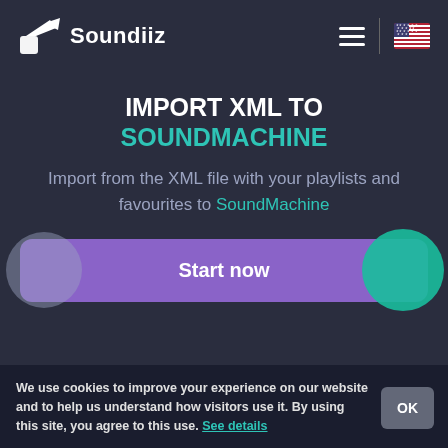Soundiiz
IMPORT XML TO SOUNDMACHINE
Import from the XML file with your playlists and favourites to SoundMachine
Start now
We use cookies to improve your experience on our website and to help us understand how visitors use it. By using this site, you agree to this use. See details